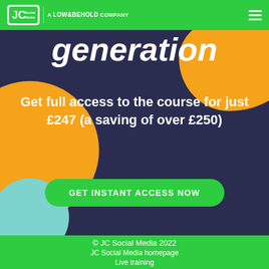JC Social Media | A LOW&BEHOLD COMPANY
generation
Get full access to the course for just £247 (a saving of over £250)
GET INSTANT ACCESS NOW
© JC Social Media 2022
JC Social Media homepage
Live training

Terms of Use
Privacy Policy